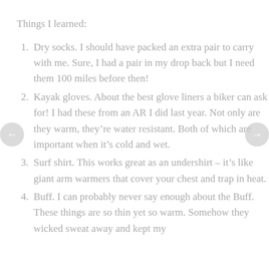Things I learned:
Dry socks. I should have packed an extra pair to carry with me. Sure, I had a pair in my drop back but I need them 100 miles before then!
Kayak gloves. About the best glove liners a biker can ask for! I had these from an AR I did last year. Not only are they warm, they’re water resistant. Both of which are important when it’s cold and wet.
Surf shirt. This works great as an undershirt – it’s like giant arm warmers that cover your chest and trap in heat.
Buff. I can probably never say enough about the Buff. These things are so thin yet so warm. Somehow they wicked sweat away and kept my